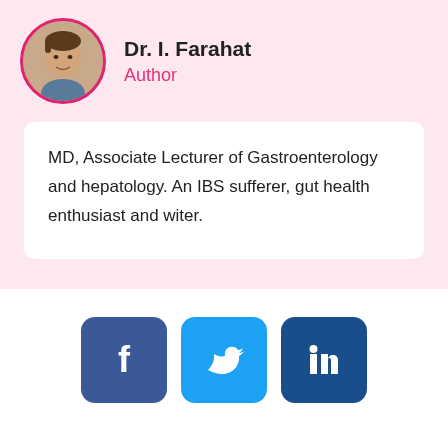[Figure (photo): Circular avatar photo of Dr. I. Farahat with a pink border]
Dr. I. Farahat
Author
MD, Associate Lecturer of Gastroenterology and hepatology. An IBS sufferer, gut health enthusiast and witer.
[Figure (infographic): Three social media buttons: Facebook (dark blue), Twitter (light blue), LinkedIn (dark blue)]